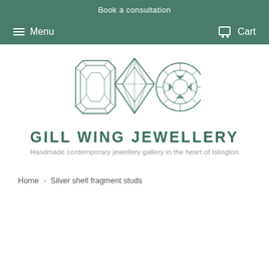Book a consultation
Menu   Cart
[Figure (logo): Gill Wing Jewellery logo with three gemstone outline illustrations (emerald cut, marquise/kite diamond, and round brilliant cut) above the brand name]
GILL WING JEWELLERY
Handmade contemporary jewellery gallery in the heart of Islington
Home › Silver shell fragment studs